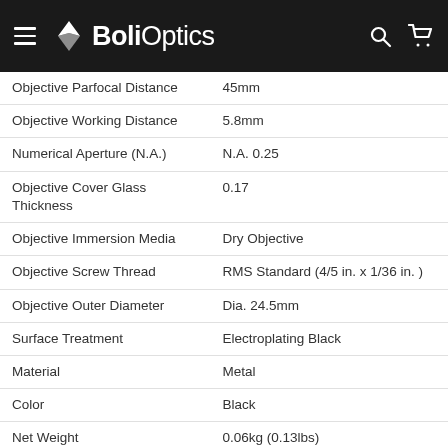BoliOptics
| Property | Value |
| --- | --- |
| Objective Parfocal Distance | 45mm |
| Objective Working Distance | 5.8mm |
| Numerical Aperture (N.A.) | N.A. 0.25 |
| Objective Cover Glass Thickness | 0.17 |
| Objective Immersion Media | Dry Objective |
| Objective Screw Thread | RMS Standard (4/5 in. x 1/36 in. ) |
| Objective Outer Diameter | Dia. 24.5mm |
| Surface Treatment | Electroplating Black |
| Material | Metal |
| Color | Black |
| Net Weight | 0.06kg (0.13lbs) |
| Applied Field | For BM1302 Series Microscope |
40X Infinity Semi Plan Achromatic Objective
| Property | Value |
| --- | --- |
| Objective Optical System | Infinite |
| Objective Optical Magnification | 40X |
| Objective Type | Semi-Plan Achromatic O |